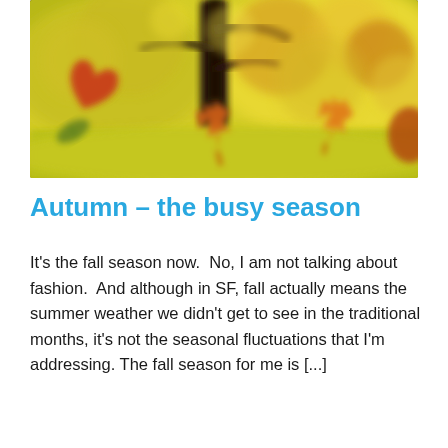[Figure (photo): Autumn scene with blurred bokeh background showing orange, red, and yellow fall leaves floating in the air against a backdrop of trees with warm autumn foliage]
Autumn – the busy season
It's the fall season now.  No, I am not talking about fashion.  And although in SF, fall actually means the summer weather we didn't get to see in the traditional months, it's not the seasonal fluctuations that I'm addressing. The fall season for me is [...]